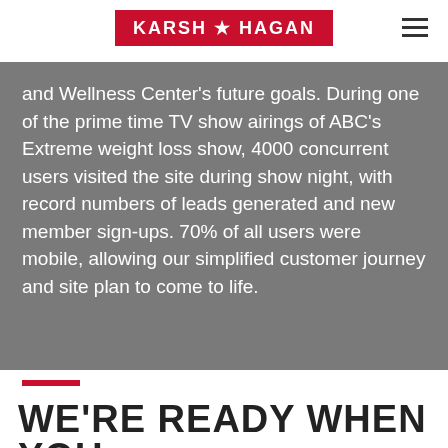KARSH ★ HAGAN
and Wellness Center's future goals. During one of the prime time TV show airings of ABC's Extreme weight loss show, 4000 concurrent users visited the site during show night, with record numbers of leads generated and new member sign-ups. 70% of all users were mobile, allowing our simplified customer journey and site plan to come to life.
WE'RE READY WHEN YOU